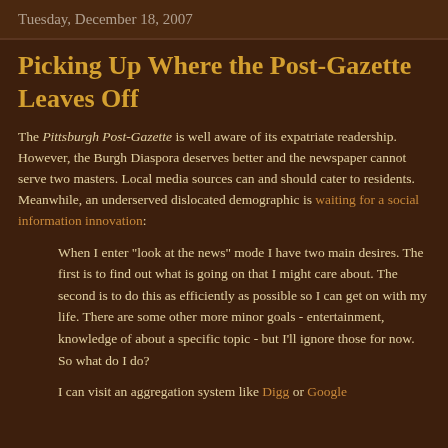Tuesday, December 18, 2007
Picking Up Where the Post-Gazette Leaves Off
The Pittsburgh Post-Gazette is well aware of its expatriate readership. However, the Burgh Diaspora deserves better and the newspaper cannot serve two masters. Local media sources can and should cater to residents. Meanwhile, an underserved dislocated demographic is waiting for a social information innovation:
When I enter "look at the news" mode I have two main desires. The first is to find out what is going on that I might care about. The second is to do this as efficiently as possible so I can get on with my life. There are some other more minor goals - entertainment, knowledge of about a specific topic - but I'll ignore those for now. So what do I do?
I can visit an aggregation system like Digg or Google